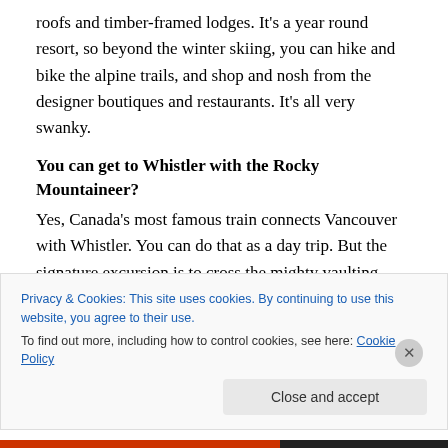roofs and timber-framed lodges. It's a year round resort, so beyond the winter skiing, you can hike and bike the alpine trails, and shop and nosh from the designer boutiques and restaurants. It's all very swanky.
You can get to Whistler with the Rocky Mountaineer?
Yes, Canada's most famous train connects Vancouver with Whistler. You can do that as a day trip. But the signature excursion is to cross the mighty vaulting Rockies, taking in some of British Colombia's iconic lakes like Louise or Banff. I took a trip on the Rocky Mountaineer from Calgary
Privacy & Cookies: This site uses cookies. By continuing to use this website, you agree to their use.
To find out more, including how to control cookies, see here: Cookie Policy
Close and accept